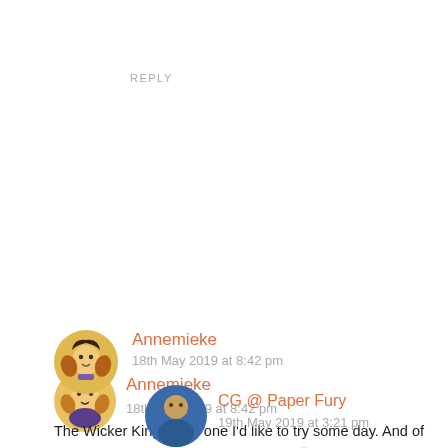REPLY
[Figure (illustration): Cartoon avatar of Annemieke - illustrated character with books]
Annemieke
18th May 2019 at 8:42 pm
The Wicker King is still one I'd like to try some day. And of course The Boy Who Steals Houses. 😉
Thank you for a great list. <3
REPLY
[Figure (photo): Circular avatar photo of CG @ Paper Fury]
CG @ Paper Fury
19th May 2019 at 3:21 pm